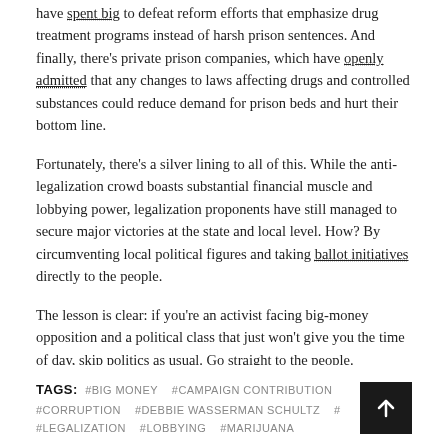have spent big to defeat reform efforts that emphasize drug treatment programs instead of harsh prison sentences. And finally, there's private prison companies, which have openly admitted that any changes to laws affecting drugs and controlled substances could reduce demand for prison beds and hurt their bottom line.
Fortunately, there's a silver lining to all of this. While the anti-legalization crowd boasts substantial financial muscle and lobbying power, legalization proponents have still managed to secure major victories at the state and local level. How? By circumventing local political figures and taking ballot initiatives directly to the people.
The lesson is clear: if you're an activist facing big-money opposition and a political class that just won't give you the time of day, skip politics as usual. Go straight to the people.
TAGS: #BIG MONEY #CAMPAIGN CONTRIBUTION #CORRUPTION #DEBBIE WASSERMAN SCHULTZ # #LEGALIZATION #LOBBYING #MARIJUANA